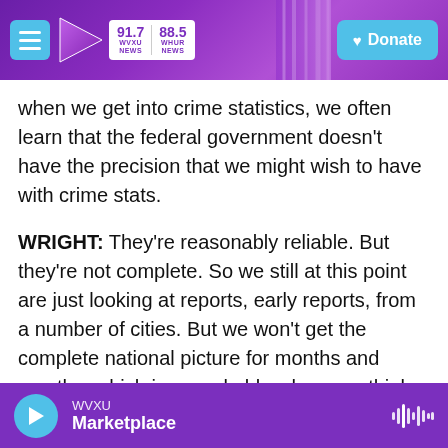WVXU 91.7 NEWS | 88.5 WHUR NEWS | Donate
when we get into crime statistics, we often learn that the federal government doesn't have the precision that we might wish to have with crime stats.
WRIGHT: They're reasonably reliable. But they're not complete. So we still at this point are just looking at reports, early reports, from a number of cities. But we won't get the complete national picture for months and months, which is remarkable when you think about it.
INSKEEP: And I don't want to suggest at all that
WVXU Marketplace